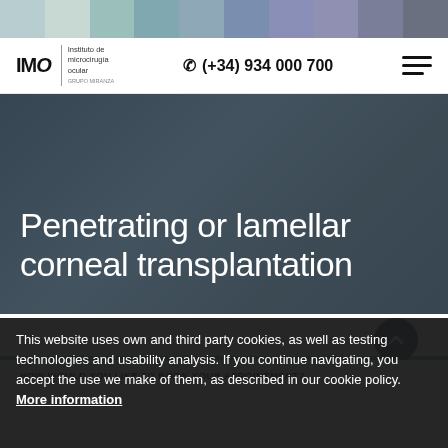[Figure (other): Color palette strip with teal, green, blue, slate and dark grey swatches]
IMO Instituto de microcirugía ocular GRUPO MIRANZA | (+34) 934 000 700
Penetrating or lamellar corneal transplantation
HOW WOULD YOU LIKE TO BOOK YOUR APPOINTMENT?
This website uses own and third party cookies, as well as testing technologies and usability analysis. If you continue navigating, you accept the use we make of them, as described in our cookie policy. More information